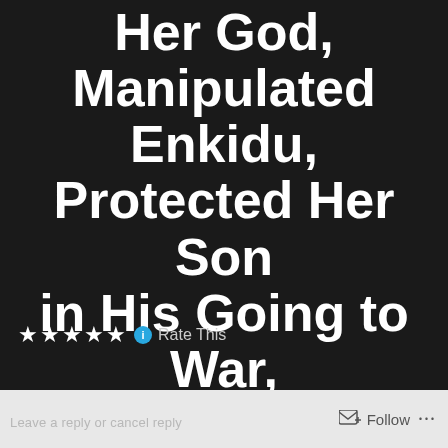Her God, Manipulated Enkidu, Protected Her Son in His Going to War, and Got What She Wanted
★★★★★ ⓘ Rate This
Follow ···